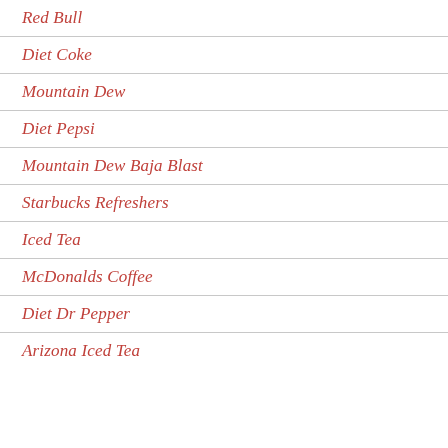Red Bull
Diet Coke
Mountain Dew
Diet Pepsi
Mountain Dew Baja Blast
Starbucks Refreshers
Iced Tea
McDonalds Coffee
Diet Dr Pepper
Arizona Iced Tea